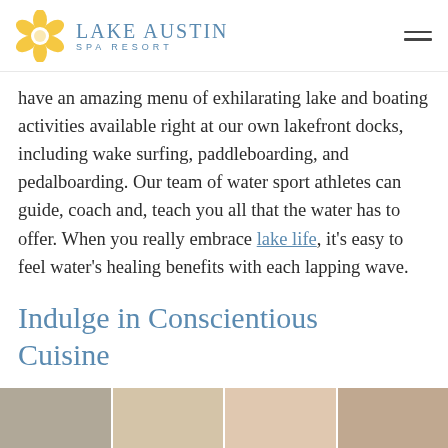Lake Austin Spa Resort
have an amazing menu of exhilarating lake and boating activities available right at our own lakefront docks, including wake surfing, paddleboarding, and pedalboarding. Our team of water sport athletes can guide, coach and, teach you all that the water has to offer. When you really embrace lake life, it's easy to feel water's healing benefits with each lapping wave.
Indulge in Conscientious Cuisine
[Figure (photo): Strip of food photos at the bottom of the page]